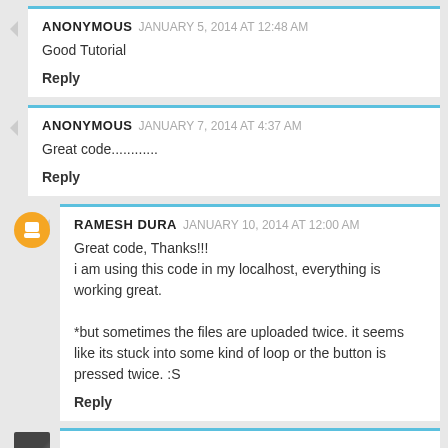ANONYMOUS JANUARY 5, 2014 AT 12:48 AM
Good Tutorial
Reply
ANONYMOUS JANUARY 7, 2014 AT 4:37 AM
Great code............
Reply
RAMESH DURA JANUARY 10, 2014 AT 12:00 AM
Great code, Thanks!!!
i am using this code in my localhost, everything is working great.

*but sometimes the files are uploaded twice. it seems like its stuck into some kind of loop or the button is pressed twice. :S
Reply